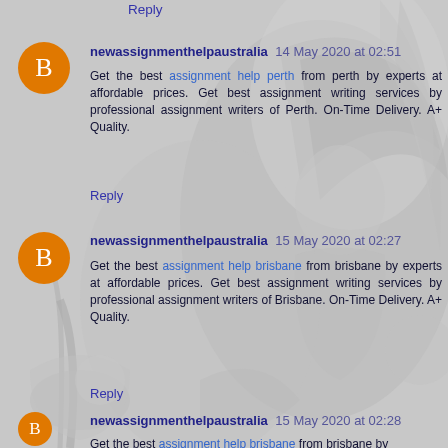Reply
newassignmenthelpaustralia 14 May 2020 at 02:51
Get the best assignment help perth from perth by experts at affordable prices. Get best assignment writing services by professional assignment writers of Perth. On-Time Delivery. A+ Quality.
Reply
newassignmenthelpaustralia 15 May 2020 at 02:27
Get the best assignment help brisbane from brisbane by experts at affordable prices. Get best assignment writing services by professional assignment writers of Brisbane. On-Time Delivery. A+ Quality.
Reply
newassignmenthelpaustralia 15 May 2020 at 02:28
Get the best assignment help brisbane from brisbane by